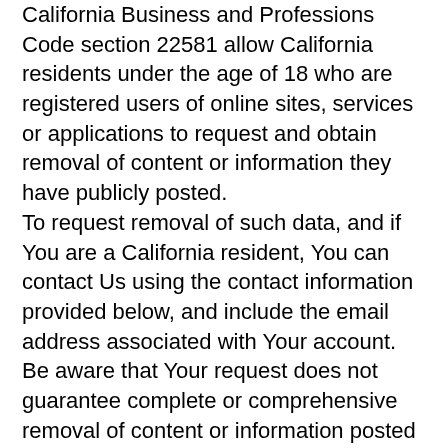California Business and Professions Code section 22581 allow California residents under the age of 18 who are registered users of online sites, services or applications to request and obtain removal of content or information they have publicly posted.
To request removal of such data, and if You are a California resident, You can contact Us using the contact information provided below, and include the email address associated with Your account.
Be aware that Your request does not guarantee complete or comprehensive removal of content or information posted online and that the law may not permit or require removal in certain circumstances.
Links to Other Websites
Our Service may contain links to other websites that are not operated by Us. If You click on a third party link, You will be directed to that third party's site. We strongly advise You to review the Privacy Policy of every site You visit.
We have no control over and assume no responsibility for the content, privacy policies or practices of any third party sites